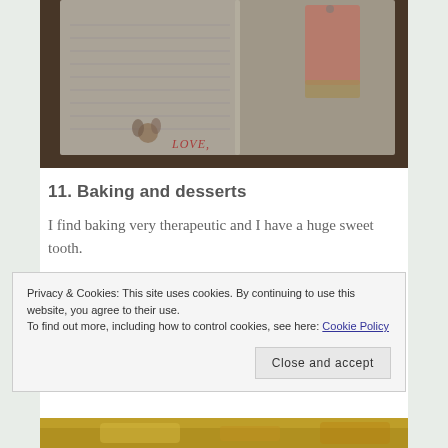[Figure (photo): Blurred photo of an open notebook/journal with handwritten text and a pink tag, placed on a wooden surface. Text 'LOVE,' visible at bottom of page.]
11. Baking and desserts
I find baking very therapeutic and I have a huge sweet tooth.
Privacy & Cookies: This site uses cookies. By continuing to use this website, you agree to their use.
To find out more, including how to control cookies, see here: Cookie Policy
Close and accept
[Figure (photo): Bottom strip of a food photo, showing what appears to be baked goods in golden/yellow tones.]